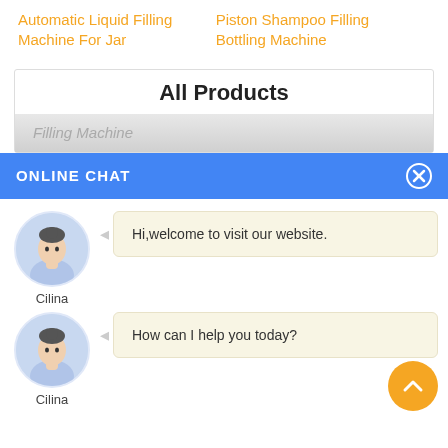Automatic Liquid Filling Machine For Jar
Piston Shampoo Filling Bottling Machine
All Products
Filling Machine
ONLINE CHAT
[Figure (illustration): Chat avatar of a woman named Cilina in a light blue shirt]
Cilina
Hi,welcome to visit our website.
[Figure (illustration): Chat avatar of a woman named Cilina in a light blue shirt]
Cilina
How can I help you today?